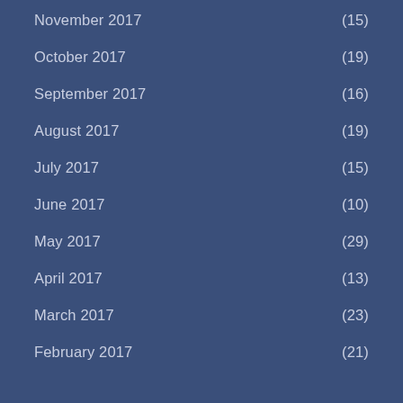November 2017 (15)
October 2017 (19)
September 2017 (16)
August 2017 (19)
July 2017 (15)
June 2017 (10)
May 2017 (29)
April 2017 (13)
March 2017 (23)
February 2017 (21)